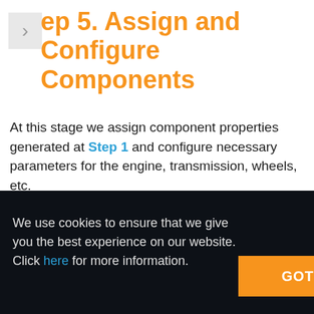ep 5. Assign and Configure Components
At this stage we assign component properties generated at Step 1 and configure necessary parameters for the engine, transmission, wheels, etc.
Engine
We use cookies to ensure that we give you the best experience on our website. Click here for more information.